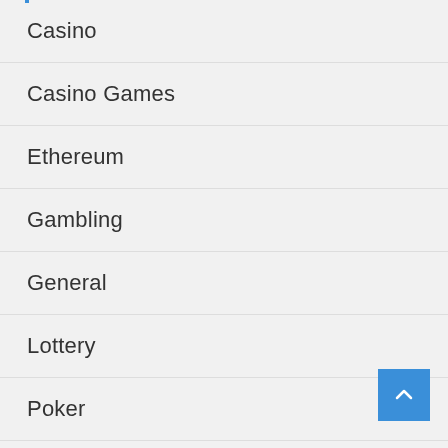Casino
Casino Games
Ethereum
Gambling
General
Lottery
Poker
slot